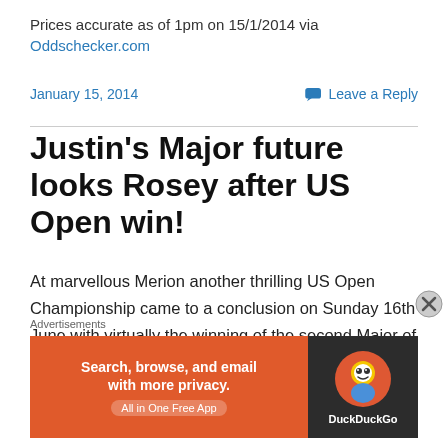Prices accurate as of 1pm on 15/1/2014 via Oddschecker.com
January 15, 2014
Leave a Reply
Justin's Major future looks Rosey after US Open win!
At marvellous Merion another thrilling US Open Championship came to a conclusion on Sunday 16th June with virtually the winning of the second Major of the year coming down to the last shots. No player was under par, nevermind that, all players were over par! Merion was
Advertisements
[Figure (other): DuckDuckGo advertisement banner: Search, browse, and email with more privacy. All in One Free App]